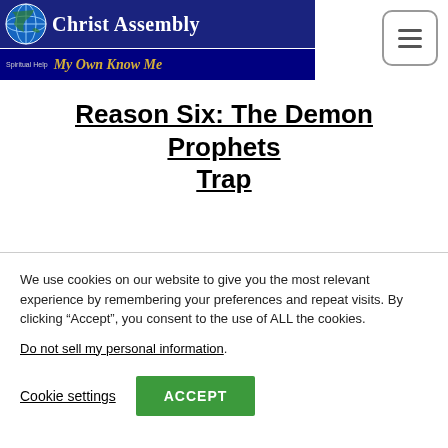[Figure (logo): Christ Assembly website header banner with globe logo, blue background, text 'Christ Assembly' and 'My Own Know Me', with hamburger menu button]
Reason Six: The Demon Prophets Trap
We use cookies on our website to give you the most relevant experience by remembering your preferences and repeat visits. By clicking “Accept”, you consent to the use of ALL the cookies.
Do not sell my personal information.
Cookie settings   ACCEPT